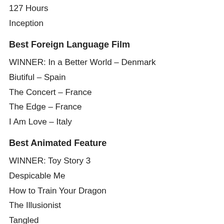127 Hours
Inception
Best Foreign Language Film
WINNER: In a Better World – Denmark
Biutiful – Spain
The Concert – France
The Edge – France
I Am Love – Italy
Best Animated Feature
WINNER: Toy Story 3
Despicable Me
How to Train Your Dragon
The Illusionist
Tangled